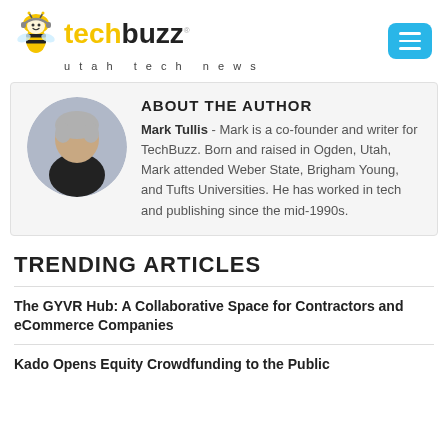[Figure (logo): TechBuzz Utah Tech News logo with bee mascot and hamburger menu button]
ABOUT THE AUTHOR
Mark Tullis - Mark is a co-founder and writer for TechBuzz. Born and raised in Ogden, Utah, Mark attended Weber State, Brigham Young, and Tufts Universities. He has worked in tech and publishing since the mid-1990s.
TRENDING ARTICLES
The GYVR Hub: A Collaborative Space for Contractors and eCommerce Companies
Kado Opens Equity Crowdfunding to the Public